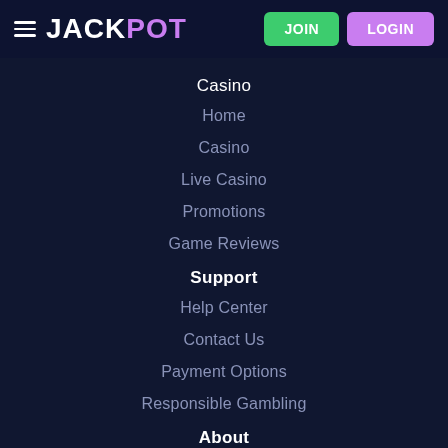JACKPOT | JOIN | LOGIN
Casino
Home
Casino
Live Casino
Promotions
Game Reviews
Support
Help Center
Contact Us
Payment Options
Responsible Gambling
About